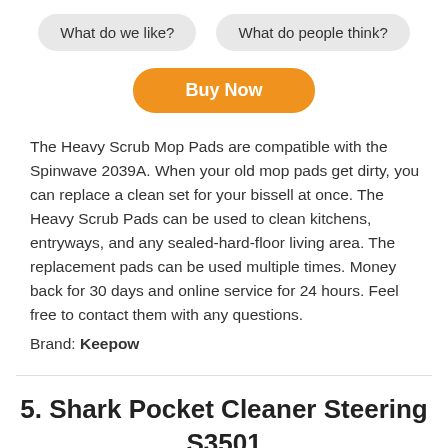What do we like?
What do people think?
Buy Now
The Heavy Scrub Mop Pads are compatible with the Spinwave 2039A. When your old mop pads get dirty, you can replace a clean set for your bissell at once. The Heavy Scrub Pads can be used to clean kitchens, entryways, and any sealed-hard-floor living area. The replacement pads can be used multiple times. Money back for 30 days and online service for 24 hours. Feel free to contact them with any questions.
Brand: Keepow
5. Shark Pocket Cleaner Steering S3501